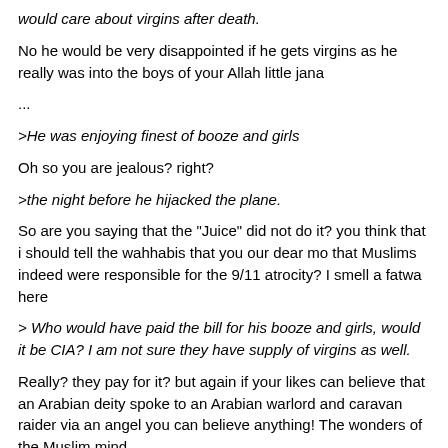would care about virgins after death.
No he would be very disappointed if he gets virgins as he really was into the boys of your Allah little jana
...
>He was enjoying finest of booze and girls
Oh so you are jealous? right?
>the night before he hijacked the plane.
So are you saying that the "Juice" did not do it? you think that i should tell the wahhabis that you our dear mo that Muslims indeed were responsible for the 9/11 atrocity? I smell a fatwa here
> Who would have paid the bill for his booze and girls, would it be CIA? I am not sure they have supply of virgins as well.
Really? they pay for it? but again if your likes can believe that an Arabian deity spoke to an Arabian warlord and caravan raider via an angel you can believe anything! The wonders of the Muslim mind